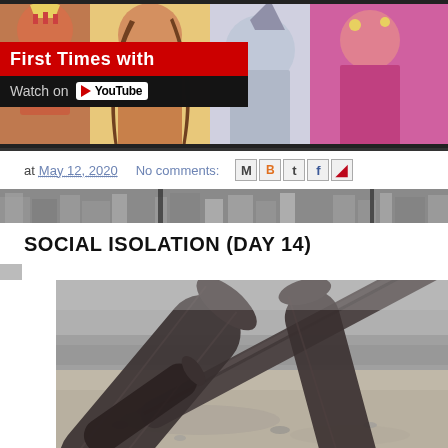[Figure (screenshot): Top banner showing colorful manga/comic book style illustration with a YouTube video overlay reading 'First Times with' and 'Watch on YouTube']
at May 12, 2020   No comments:
[Figure (screenshot): Share icons for email (M), Blogger (B), Twitter (t), Facebook (f), and Pinterest]
[Figure (photo): Blurred cityscape/architectural divider bar in grayscale]
SOCIAL ISOLATION (DAY 14)
[Figure (photo): Black and white photograph of wooden logs/fence posts arranged in a crossed pattern on sandy/dirt ground with grass in background]